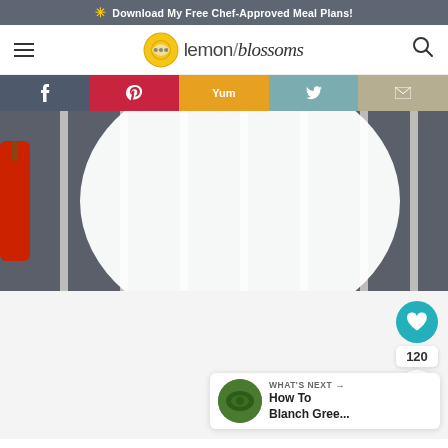* Download My Free Chef-Approved Meal Plans!
[Figure (logo): Lemon Blossoms website logo with lemon slice icon and stylized text]
[Figure (infographic): Social sharing buttons: Facebook, Pinterest, Yummly, Twitter, Email]
[Figure (photo): Close-up food photo showing a white plate on a striped grey cloth with a red chili pepper]
120
[Figure (infographic): What's Next card with green vegetable thumbnail and text: How To Blanch Gree...]